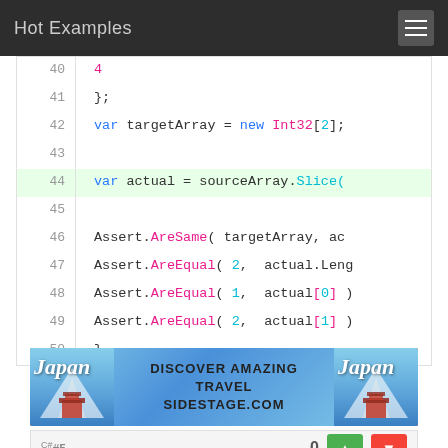Hot Examples
[Figure (screenshot): Code snippet showing C# lines 40-50 with syntax highlighting. Line 44 is highlighted in green. Code includes var targetArray = new Int32[2]; var actual = sourceArray.Slice(...); and Assert statements.]
[Figure (infographic): Advertisement banner: DISCOVER AMAZING TRAVEL SIDESTAGE.COM with Japan imagery on left and right sides]
#5  0